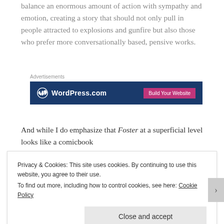balance an enormous amount of action with sympathy and emotion, creating a story that should not only pull in people attracted to explosions and gunfire but also those who prefer more conversationally based, pensive works.
[Figure (other): WordPress.com advertisement banner with blue background, WordPress logo on the left and 'Build Your Website' pink button on the right, labeled 'Advertisements' above.]
And while I do emphasize that Foster at a superficial level looks like a comicbook
Privacy & Cookies: This site uses cookies. By continuing to use this website, you agree to their use.
To find out more, including how to control cookies, see here: Cookie Policy
Close and accept